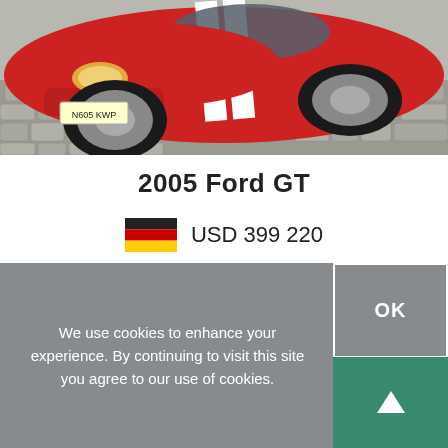[Figure (photo): Front view of a red 2005 Ford GT with white racing stripes on a cobblestone surface. UK license plate visible.]
2005 Ford GT
USD 399 220
We use cookies to enhance your experience. By continuing to visit this site you agree to our use of cookies.